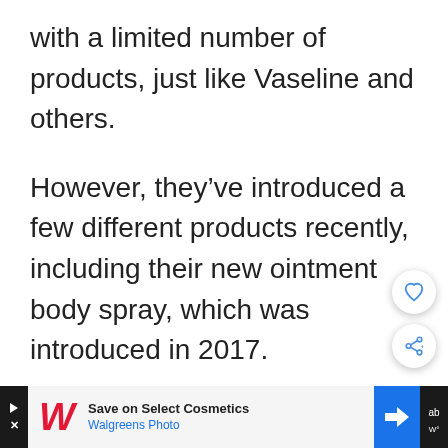with a limited number of products, just like Vaseline and others.
However, they've introduced a few different products recently, including their new ointment body spray, which was introduced in 2017.
[Figure (other): Advertisement bar: Walgreens Photo - Save on Select Cosmetics]